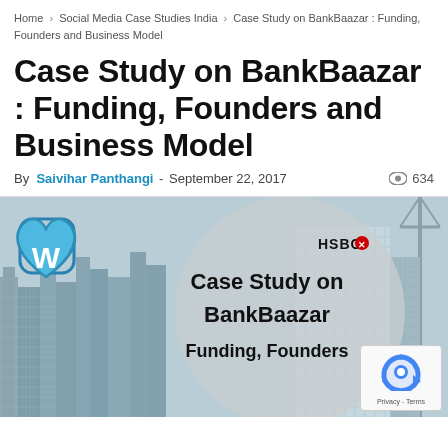Home > Social Media Case Studies India > Case Study on BankBaazar : Funding, Founders and Business Model
Case Study on BankBaazar : Funding, Founders and Business Model
By Saivihar Panthangi - September 22, 2017  634
[Figure (photo): Featured image for the BankBaazar case study article showing city skyline with HSBC building, a circular grey overlay with text 'Case Study on BankBaazar Funding, Founders', a blue heart logo with 'W' in top-left, and a reCAPTCHA widget in bottom-right corner.]